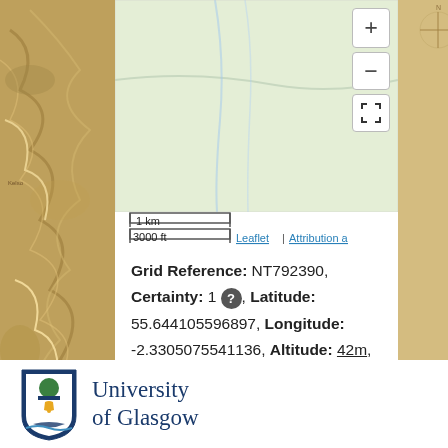[Figure (map): Historical map background with old Scottish map imagery in browns and greens. A white popup panel overlays the center showing a zoomed-in map area with zoom controls (+, -, fullscreen) and a scale bar showing 1 km / 3000 ft. Links to Leaflet and Attribution and copyright appear at bottom of map area.]
Grid Reference: NT792390, Certainty: 1 ?, Latitude: 55.644105596897, Longitude: -2.3305075541136, Altitude: 42m, Landranger sheet: 74
[Figure (logo): University of Glasgow logo with shield/crest and text 'University of Glasgow' in dark blue serif font]